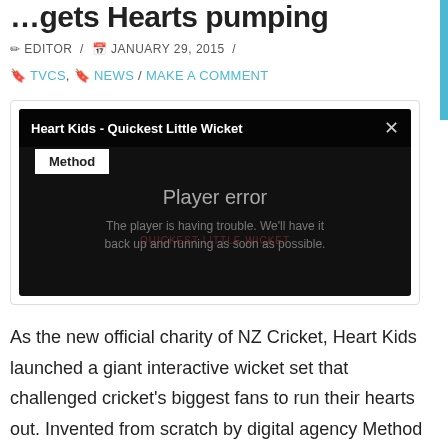…gets Hearts pumping
✏ EDITOR / 📅 JANUARY 29, 2015 /
🔖 TVCS, 🔖 NEWS / MAKE A COMMENT
[Figure (screenshot): Embedded video player showing 'Heart Kids - Quickest Little Wicket' with a player error message: 'The player is having trouble. We'll have it back up and running as soon as possible.' with a Method tab and close button.]
As the new official charity of NZ Cricket, Heart Kids launched a giant interactive wicket set that challenged cricket's biggest fans to run their hearts out. Invented from scratch by digital agency Method Studios, Quickest Little Wicket challenged Kiwis to sprint between the LED